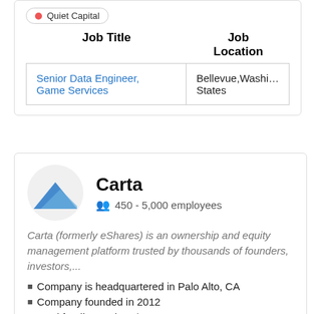Quiet Capital
| Job Title | Job Location |
| --- | --- |
| Senior Data Engineer, Game Services | Bellevue, Washington, United States |
Carta
450 - 5,000 employees
Carta (formerly eShares) is an ownership and equity management platform trusted by thousands of founders, investors,...
Company is headquartered in Palo Alto, CA
Company founded in 2012
Total funding to date $1,127,800,064